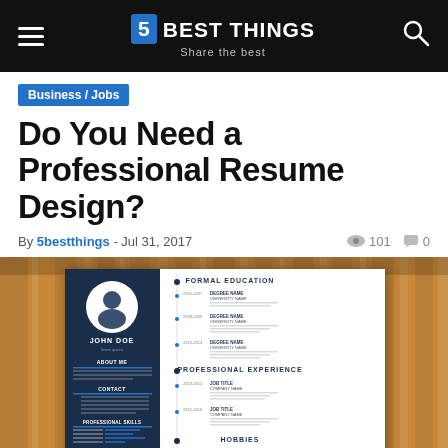5 BEST THINGS — Share the best
Business / Jobs
Do You Need a Professional Resume Design?
By 5bestthings - Jul 31, 2017 | 101 views | 0 comments
[Figure (photo): A professional resume design template displayed on a wood table background. The resume shows John Doe with sections for Formal Education, Professional Experience, About Me, Contact, Professional Skills, Language, and Hobbies. The design uses a dark navy blue left sidebar with a white profile silhouette. Watermark reads 5BestThings.com.]